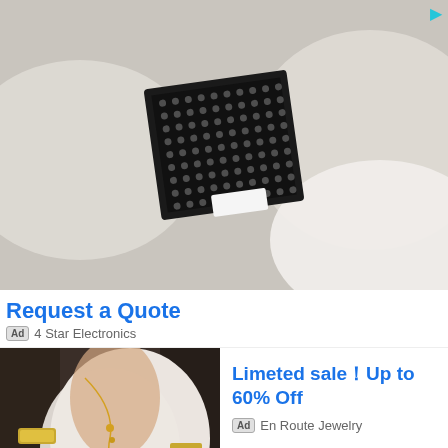[Figure (photo): Close-up photo of gloved hands holding a black semiconductor chip/circuit board with a grid of solder balls, against a white/beige background]
Request a Quote
Ad  4 Star Electronics
[Figure (photo): Photo of a woman wearing a white draped dress with gold jewelry including a cuff bracelet and body chain necklace]
Limeted sale！Up to 60% Off
Ad  En Route Jewelry